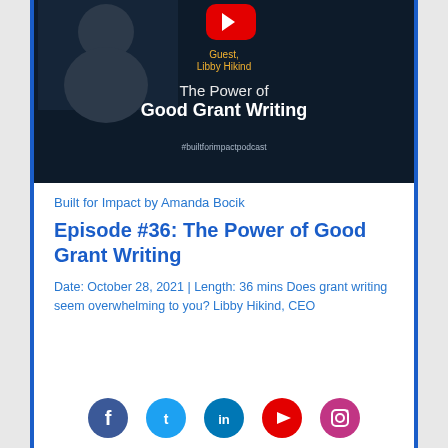[Figure (screenshot): Podcast episode thumbnail on dark navy background with YouTube logo, photo of presenter, text 'Guest, Libby Hikind', 'The Power of Good Grant Writing', '#builtforimpactpodcast']
Built for Impact by Amanda Bocik
Episode #36: The Power of Good Grant Writing
Date: October 28, 2021 | Length: 36 mins Does grant writing seem overwhelming to you? Libby Hikind, CEO